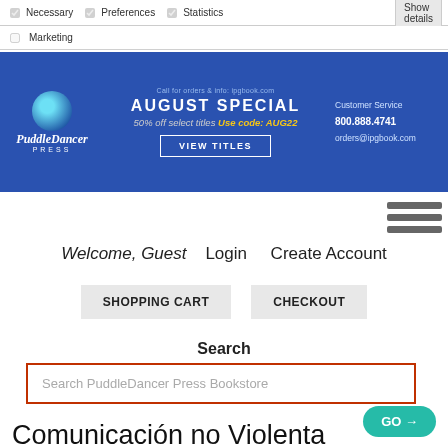Necessary | Preferences | Statistics | Marketing | Show details
[Figure (screenshot): PuddleDancer Press banner — AUGUST SPECIAL 50% off select titles, Use code: AUG22, VIEW TITLES button, Customer Service 800.888.4741 orders@ipgbook.com]
[Figure (other): Hamburger menu icon (three horizontal bars)]
Welcome, Guest   Login   Create Account
SHOPPING CART   CHECKOUT
Search
Search PuddleDancer Press Bookstore
Comunicación no Violenta